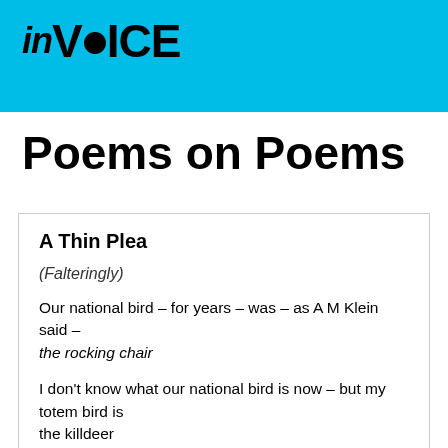inVOICE
Poems on Poems
A Thin Plea
(Falteringly)
Our national bird – for years – was – as A M Klein said –
the rocking chair
I don't know what our national bird is now – but my totem bird is
the killdeer